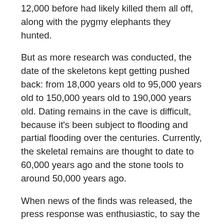12,000 before had likely killed them all off, along with the pygmy elephants they hunted.
But as more research was conducted, the date of the skeletons kept getting pushed back: from 18,000 years old to 95,000 years old to 150,000 years old to 190,000 years old. Dating remains in the cave is difficult, because it's been subject to flooding and partial flooding over the centuries. Currently, the skeletal remains are thought to date to 60,000 years ago and the stone tools to around 50,000 years ago.
When news of the finds was released, the press response was enthusiastic, to say the least. The skeletons were dubbed Hobbits for their small size, which made the Tolkien estate's head explode, and practically every few weeks it seems there was another article about whether there were small people still living quietly on the island of Flores, yet